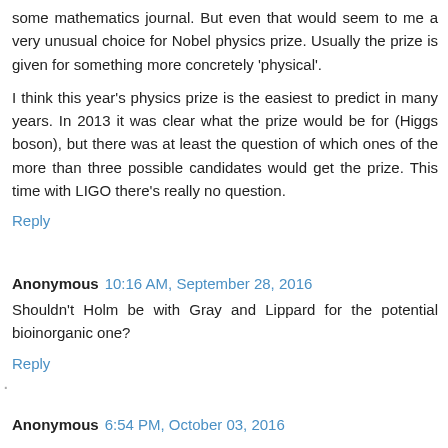some mathematics journal. But even that would seem to me a very unusual choice for Nobel physics prize. Usually the prize is given for something more concretely 'physical'.
I think this year's physics prize is the easiest to predict in many years. In 2013 it was clear what the prize would be for (Higgs boson), but there was at least the question of which ones of the more than three possible candidates would get the prize. This time with LIGO there's really no question.
Reply
Anonymous 10:16 AM, September 28, 2016
Shouldn't Holm be with Gray and Lippard for the potential bioinorganic one?
Reply
Anonymous 6:54 PM, October 03, 2016